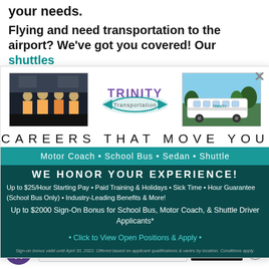your needs.
Flying and need transportation to the airport? We've got you covered! Our shuttles
[Figure (photo): Trinity Transportation ad popup with workers photo on left, Trinity Transportation logo in center, and a white motor coach bus photo on the right. Below: 'CAREERS THAT MOVE YOU' heading, teal bar with 'Motor Coach • School Bus • Sedan • Shuttle', dark teal section with 'WE HONOR YOUR EXPERIENCE!' and benefits text, sign-on bonus info, and click to apply link.]
• Click to View Open Positions & Apply •
Sign-on bonus valid until April 30, 2022. Offered based on applicant qualifications & varies by location. Conditions apply.
Other (please specify)
SUBMIT